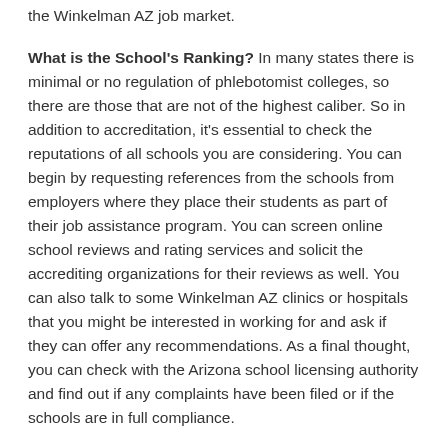the Winkelman AZ job market.
What is the School's Ranking? In many states there is minimal or no regulation of phlebotomist colleges, so there are those that are not of the highest caliber. So in addition to accreditation, it's essential to check the reputations of all schools you are considering. You can begin by requesting references from the schools from employers where they place their students as part of their job assistance program. You can screen online school reviews and rating services and solicit the accrediting organizations for their reviews as well. You can also talk to some Winkelman AZ clinics or hospitals that you might be interested in working for and ask if they can offer any recommendations. As a final thought, you can check with the Arizona school licensing authority and find out if any complaints have been filed or if the schools are in full compliance.